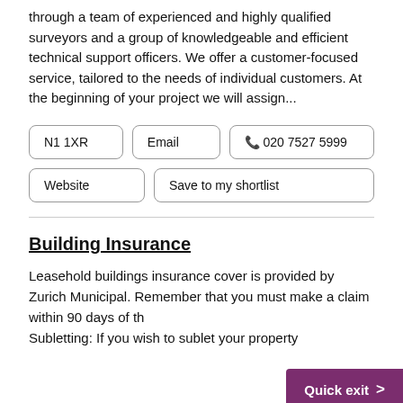Islington Building Control delivers its service through a team of experienced and highly qualified surveyors and a group of knowledgeable and efficient technical support officers. We offer a customer-focused service, tailored to the needs of individual customers. At the beginning of your project we will assign...
N1 1XR
Email
📞 020 7527 5999
Website
Save to my shortlist
Building Insurance
Leasehold buildings insurance cover is provided by Zurich Municipal. Remember that you must make a claim within 90 days of th... Subletting: If you wish to sublet your property
Quick exit >